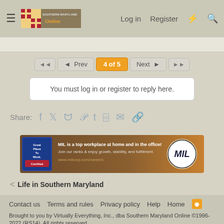Southern Maryland Online — Log in | Register
◄ Prev  4 of 5  Next ►
You must log in or register to reply here.
Share:
[Figure (infographic): MIL advertisement banner: Great Place To Work Certified. MIL is a top workplace at home and in the office! Join our ranks & enjoy growth, stability, and fulfillment. www.milcorp.com/careers]
< Life in Southern Maryland
Contact us  Terms and rules  Privacy policy  Help  Home
Brought to you by Virtually Everything, Inc., dba Southern Maryland Online ©1996-2022 (RS14), All rights reserved.
Community platform by XenForo® © 2010-2021 XenForo Ltd. | Media embeds via s9e/MediaSites